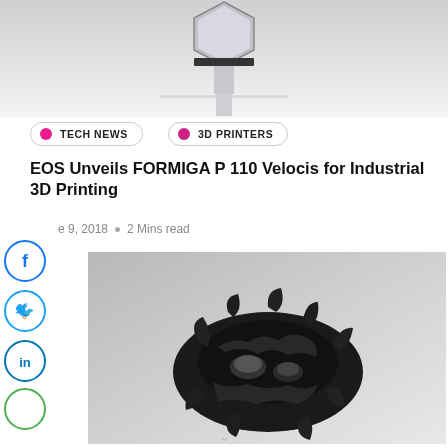[Figure (photo): Top portion of a 3D printer machine, light gray background with a hexagonal metallic component visible at the top center]
TECH NEWS
3D PRINTERS
EOS Unveils FORMIGA P 110 Velocis for Industrial 3D Printing
June 9, 2018  ○  2 Mins read
[Figure (photo): A complex black 3D-printed industrial part with intricate lattice/gear-like structure, photographed on a light gray background]